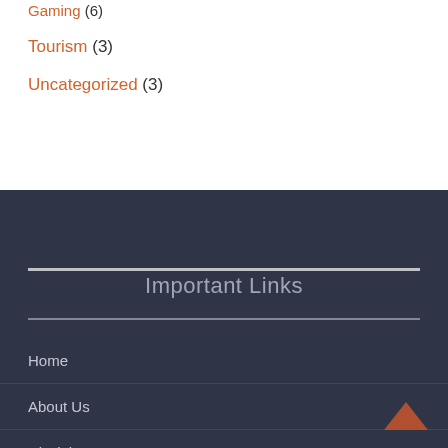Gaming (6)
Tourism (3)
Uncategorized (3)
Important Links
Home
About Us
Disclaimer